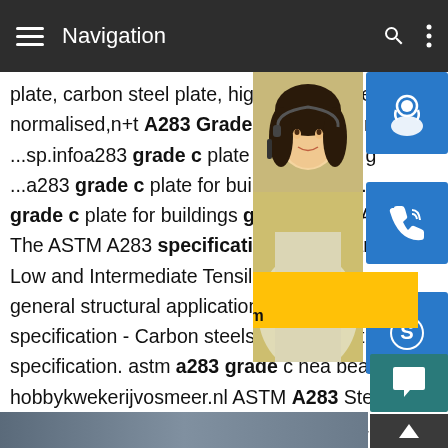Navigation
plate, carbon steel plate, high strength ste normalised,n+t A283 Grade A steel materi ...sp.infoa283 grade c plate for buildings g ...a283 grade c plate for buildings grade. grade c plate for buildings grade.ASTM A The ASTM A283 specification is the Stan Low and Intermediate Tensile Strength Ca general structural applications..sp.infoa28 specification - Carbon steels - Steel ...astr specification. astm a283 grade c hea bea hobbykwekerijvosmeer.nl ASTM A283 Steel Plate specification covers four grades (A, B, C, and D) of carbon steel plates of structural quality for general application.When the ASTM A28 Steel Plate is to be welded, it is presupposed that a welding procedure suitable for the grade...Detailed
[Figure (photo): Woman with headset (customer service representative) overlaid with blue icon buttons for support, phone, and Skype, and a yellow contact overlay showing email bsteel1@163.com]